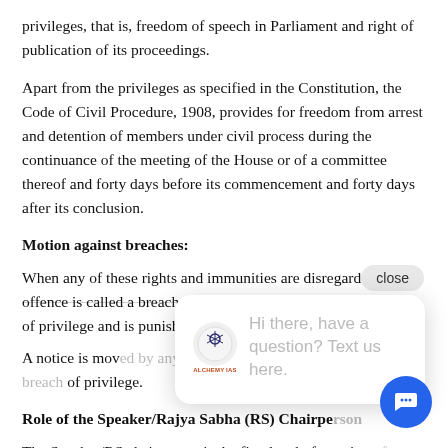privileges, that is, freedom of speech in Parliament and right of publication of its proceedings.
Apart from the privileges as specified in the Constitution, the Code of Civil Procedure, 1908, provides for freedom from arrest and detention of members under civil process during the continuance of the meeting of the House or of a committee thereof and forty days before its commencement and forty days after its conclusion.
Motion against breaches:
When any of these rights and immunities are disregarded, the offence is called a breach of privilege and is punishable by the House.
A notice is moved by any member of either House... of privilege.
Role of the Speaker/Rajya Sabha (RS) Chairpe...
The Speaker/RS chairperson is the first level of scrutiny of a privilege motion.